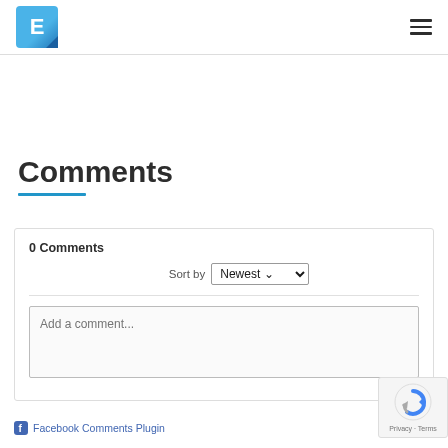[Figure (logo): Blue square logo with white letter E and darker blue triangle corner cut]
[Figure (other): Hamburger menu icon (three horizontal lines)]
Comments
0 Comments
Sort by Newest
Add a comment...
Facebook Comments Plugin
[Figure (other): reCAPTCHA badge with Privacy and Terms links]